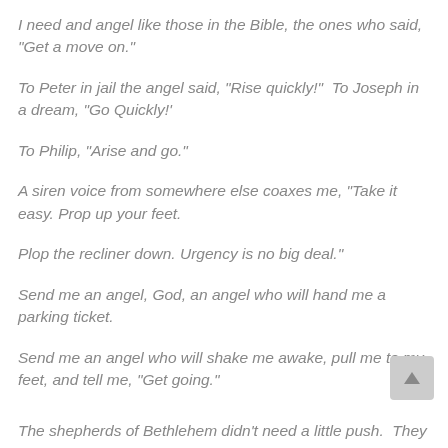I need and angel like those in the Bible, the ones who said, “Get a move on.”
To Peter in jail the angel said, “Rise quickly!”  To Joseph in a dream, “Go Quickly!'
To Philip, “Arise and go.”
A siren voice from somewhere else coaxes me, “Take it easy. Prop up your feet.
Plop the recliner down. Urgency is no big deal.”
Send me an angel, God, an angel who will hand me a parking ticket.
Send me an angel who will shake me awake, pull me to my feet, and tell me, “Get going.”
The shepherds of Bethlehem didn’t need a little push.  They